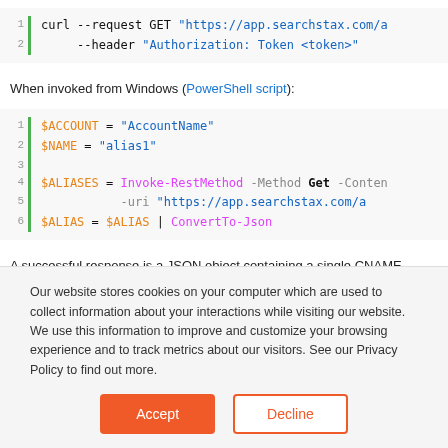curl --request GET "https://app.searchstax.com/a
     --header "Authorization: Token <token>"
When invoked from Windows (PowerShell script):
$ACCOUNT = "AccountName"
$NAME = "alias1"

$ALIASES = Invoke-RestMethod -Method Get -Conten
           -uri "https://app.searchstax.com/a
$ALIAS = $ALIAS | ConvertTo-Json
A successful response is a JSON object containing a single CNAME record from this account:
Our website stores cookies on your computer which are used to collect information about your interactions while visiting our website. We use this information to improve and customize your browsing experience and to track metrics about our visitors. See our Privacy Policy to find out more.